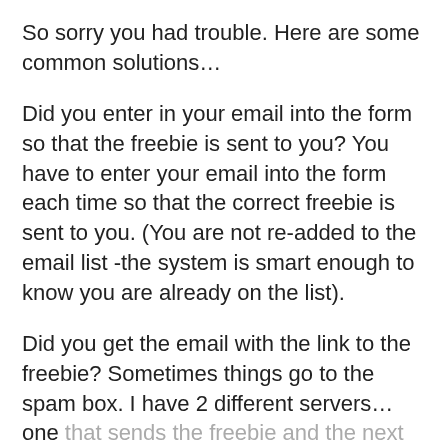So sorry you had trouble. Here are some common solutions...
Did you enter in your email into the form so that the freebie is sent to you? You have to enter your email into the form each time so that the correct freebie is sent to you. (You are not re-added to the email list -the system is smart enough to know you are already on the list).
Did you get the email with the link to the freebie? Sometimes things go to the spam box. I have 2 different servers...one that sends the freebie and the next one signs you up for the newsletter. If you got